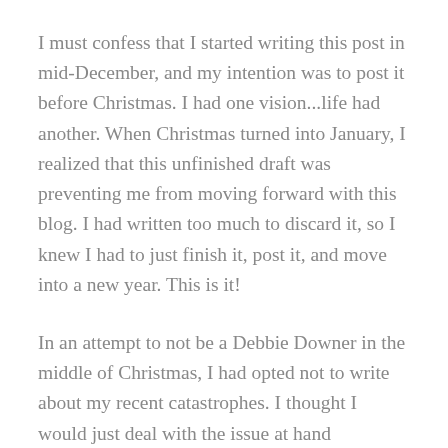I must confess that I started writing this post in mid-December, and my intention was to post it before Christmas. I had one vision...life had another. When Christmas turned into January, I realized that this unfinished draft was preventing me from moving forward with this blog. I had written too much to discard it, so I knew I had to just finish it, post it, and move into a new year. This is it!
In an attempt to not be a Debbie Downer in the middle of Christmas, I had opted not to write about my recent catastrophes. I thought I would just deal with the issue at hand and...well...just keep swimming.
...but it's been hard, and writing feels good. Although